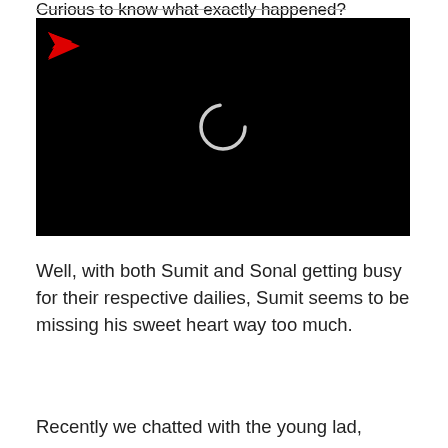Curious to know what exactly happened?
[Figure (screenshot): Black video player with a red play/send arrow icon in the top-left corner and a white loading spinner circle in the center]
Well, with both Sumit and Sonal getting busy for their respective dailies, Sumit seems to be missing his sweet heart way too much.
Recently we chatted with the young lad,